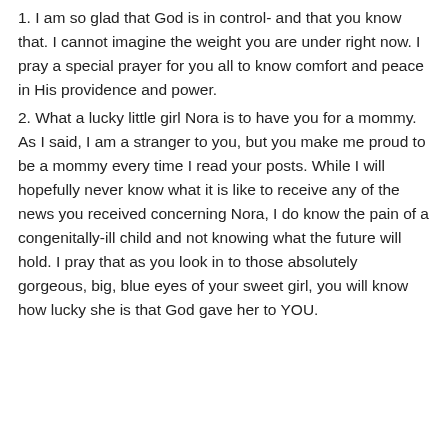1. I am so glad that God is in control- and that you know that. I cannot imagine the weight you are under right now. I pray a special prayer for you all to know comfort and peace in His providence and power.
2. What a lucky little girl Nora is to have you for a mommy. As I said, I am a stranger to you, but you make me proud to be a mommy every time I read your posts. While I will hopefully never know what it is like to receive any of the news you received concerning Nora, I do know the pain of a congenitally-ill child and not knowing what the future will hold. I pray that as you look in to those absolutely gorgeous, big, blue eyes of your sweet girl, you will know how lucky she is that God gave her to YOU.